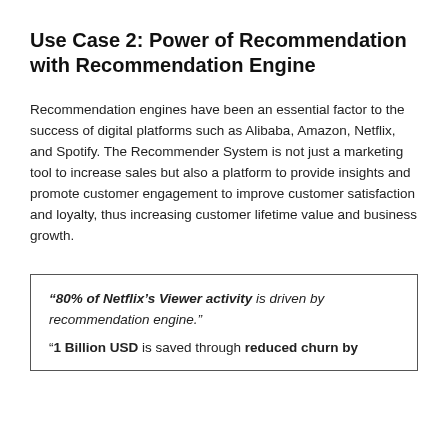Use Case 2: Power of Recommendation with Recommendation Engine
Recommendation engines have been an essential factor to the success of digital platforms such as Alibaba, Amazon, Netflix, and Spotify. The Recommender System is not just a marketing tool to increase sales but also a platform to provide insights and promote customer engagement to improve customer satisfaction and loyalty, thus increasing customer lifetime value and business growth.
“80% of Netflix’s Viewer activity is driven by recommendation engine.”
“1 Billion USD is saved through reduced churn by